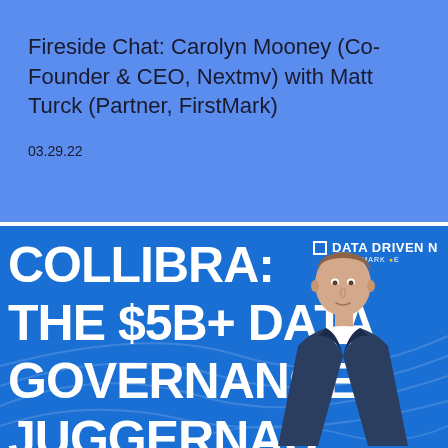Fireside Chat: Carolyn Mooney (Co-Founder & CEO, Nextmv) with Matt Turck (Partner, FirstMark)
03.29.22
[Figure (illustration): Data Driven NYC event banner featuring COLLIBRA: THE $5B+ DATA GOVERNANCE JUGGERNAUT text with a man in a suit on the right side, on a blue background with DATA DRIVEN NYC / A FIRSTMARK EVENT branding.]